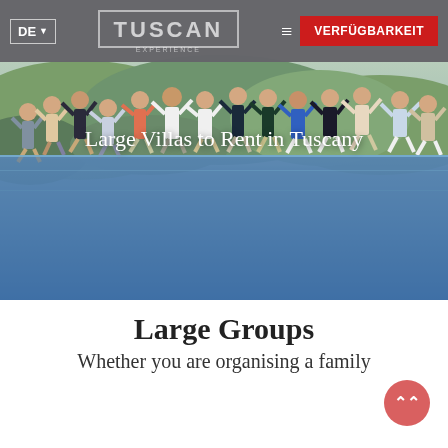DE▼  TUSCAN EXPERIENCE  ≡  VERFÜGBARKEIT
[Figure (photo): Group of people jumping joyfully in front of a Tuscan countryside landscape with rolling green hills. Their reflections are visible in a pool of water below them. Text overlay reads 'Large Villas to Rent in Tuscany'.]
Large Villas to Rent in Tuscany
Large Groups
Whether you are organising a family